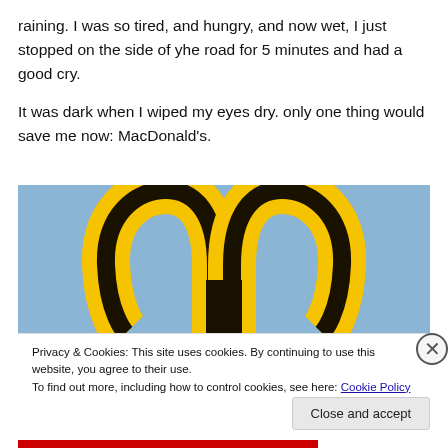raining. I was so tired, and hungry, and now wet, I just stopped on the side of yhe road for 5 minutes and had a good cry.
It was dark when I wiped my eyes dry. only one thing would save me now: MacDonald's.
[Figure (photo): Photo of McDonald's golden arches logo against a blue sky background]
Privacy & Cookies: This site uses cookies. By continuing to use this website, you agree to their use.
To find out more, including how to control cookies, see here: Cookie Policy